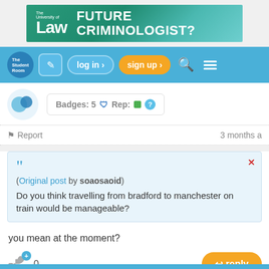[Figure (illustration): The University of Law advertisement banner with text FUTURE CRIMINOLOGIST?]
[Figure (screenshot): The Student Room website navigation bar with logo, edit button, log in, sign up, search and menu icons]
Badges: 5 Rep: ?
Report  3 months a
"Original post by soaosaoid"
Do you think travelling from bradford to manchester on train would be manageable?
you mean at the moment?
0
reply